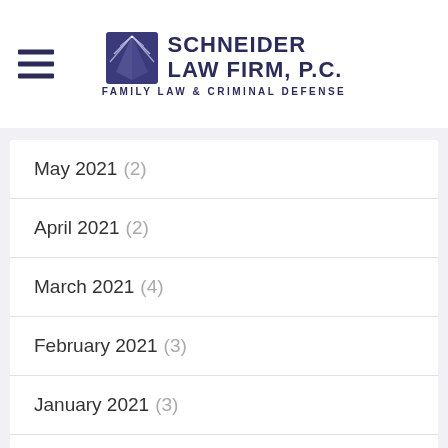[Figure (logo): Schneider Law Firm, P.C. logo with sunburst icon and tagline Family Law & Criminal Defense]
May 2021 (2)
April 2021 (2)
March 2021 (4)
February 2021 (3)
January 2021 (3)
December 2020 (4)
November 2020 (4)
October 2020 (3)
September 2020 (4)